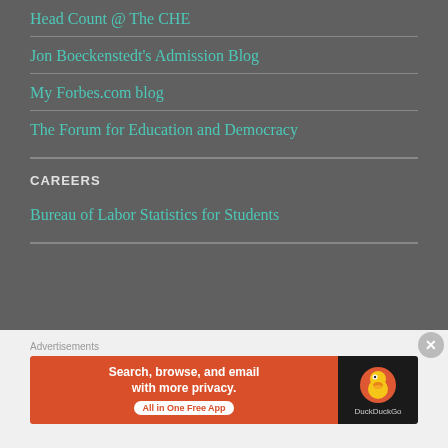Head Count @ The CHE
Jon Boeckenstedt's Admission Blog
My Forbes.com blog
The Forum for Education and Democracy
CAREERS
Bureau of Labor Statistics for Students
[Figure (screenshot): DuckDuckGo advertisement banner with orange left side reading 'Search, browse, and email with more privacy. All in One Free App' and dark right side with DuckDuckGo duck logo]
Advertisements